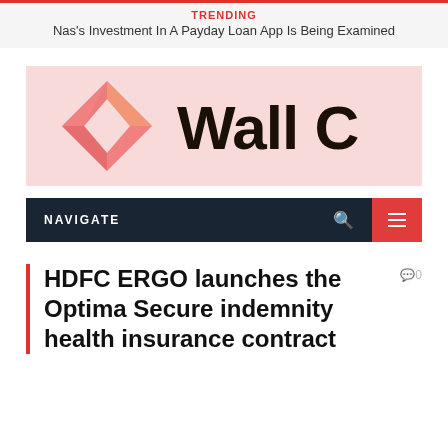TRENDING
Nas’s Investment In A Payday Loan App Is Being Examined
[Figure (logo): Wall C logo — a square diamond-shaped icon in gradient salmon/red on a pink background, with bold dark text reading 'Wall C']
NAVIGATE
HDFC ERGO launches the Optima Secure indemnity health insurance contract